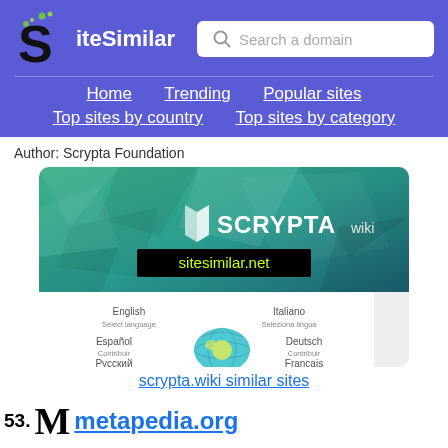SiteSimilar — Search a domain — Home | Trending | Popular sites | Top sites by country | Top sites by category
Author: Scrypta Foundation
[Figure (screenshot): Screenshot of scrypta.wiki website showing the SCRYPTAwiki logo on a green geometric background, with a language selection page showing English, Italiano, Español, Deutsch, Русский, Français options and a globe icon. A 'sitesimilar.net' watermark overlay is visible.]
scrypta.wiki similar sites
53. M metapedia.org